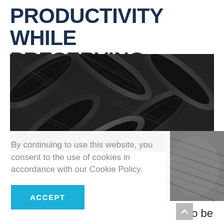PRODUCTIVITY WHILE PRESERVING SAFETY
[Figure (photo): Black and white overhead photo of multiple car tires stacked and interleaved together]
By continuing to use this website, you consent to the use of cookies in accordance with our Cookie Policy.
ACCEPT
[Figure (photo): Continuation of tires photo, lower right portion showing worn tire tread detail]
s to be